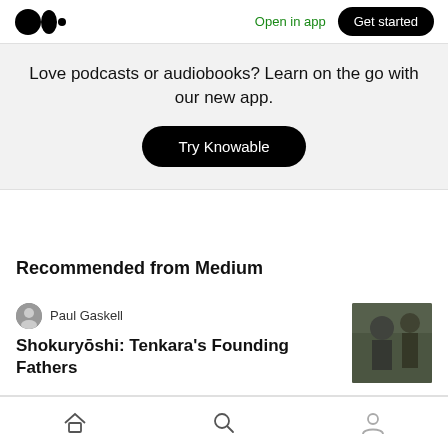Open in app | Get started
Love podcasts or audiobooks? Learn on the go with our new app.
Try Knowable
Recommended from Medium
Paul Gaskell
Shokuryōshi: Tenkara's Founding Fathers
Home | Search | Profile